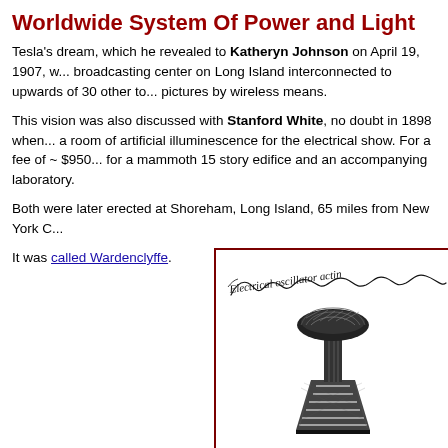Worldwide System Of Power and Light
Tesla's dream, which he revealed to Katheryn Johnson on April 19, 1907, w... broadcasting center on Long Island interconnected to upwards of 30 other to... pictures by wireless means.
This vision was also discussed with Stanford White, no doubt in 1898 when... a room of artificial illuminescence for the electrical show. For a fee of ~ $950... for a mammoth 15 story edifice and an accompanying laboratory.
Both were later erected at Shoreham, Long Island, 65 miles from New York C...
It was called Wardenclyffe.
[Figure (illustration): Historical illustration with handwritten cursive text reading 'Electrical oscillator acti...' at top, and a black and white sketch of the Wardenclyffe Tower below, bordered by a dark red/maroon border.]